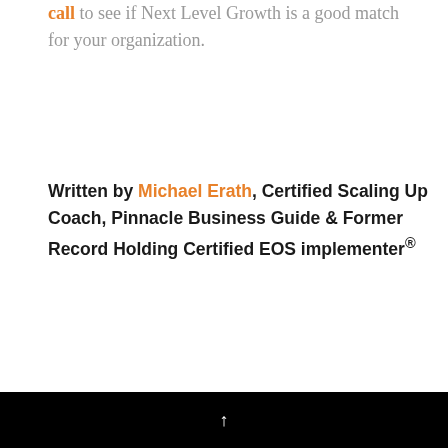call to see if Next Level Growth is a good match for your organization.
Written by Michael Erath, Certified Scaling Up Coach, Pinnacle Business Guide & Former Record Holding Certified EOS implementer®
LIKE WHAT YOU READ? SUBSCRIBE AND NEVER MISS ANOTHER ARTICLE.
READ MORE →
↑